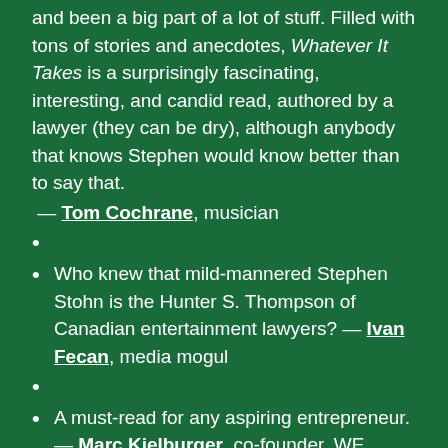and been a big part of a lot of stuff. Filled with tons of stories and anecdotes, Whatever It Takes is a surprisingly fascinating, interesting, and candid read, authored by a lawyer (they can be dry), although anybody that knows Stephen would know better than to say that.
— Tom Cochrane, musician
Who knew that mild-mannered Stephen Stohn is the Hunter S. Thompson of Canadian entertainment lawyers? — Ivan Fecan, media mogul
A must-read for any aspiring entrepreneur. — Marc Kielburger, co-founder, WE
Stephen's insights into the inner workings of our idiosyncratic television industry should be required reading for anyone who wants to turn...